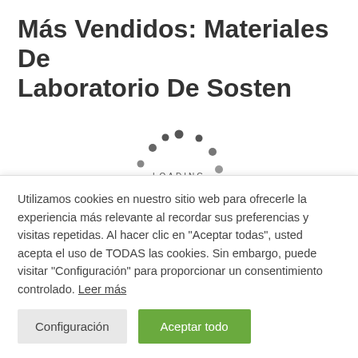Más Vendidos: Materiales De Laboratorio De Sosten
[Figure (other): Circular loading spinner animation with dots arranged in a circle and the text 'LOADING' in the center]
Más Información: Materiales De Laboratorio De Sosten
Utilizamos cookies en nuestro sitio web para ofrecerle la experiencia más relevante al recordar sus preferencias y visitas repetidas. Al hacer clic en "Aceptar todas", usted acepta el uso de TODAS las cookies. Sin embargo, puede visitar "Configuración" para proporcionar un consentimiento controlado. Leer más
Configuración | Aceptar todo